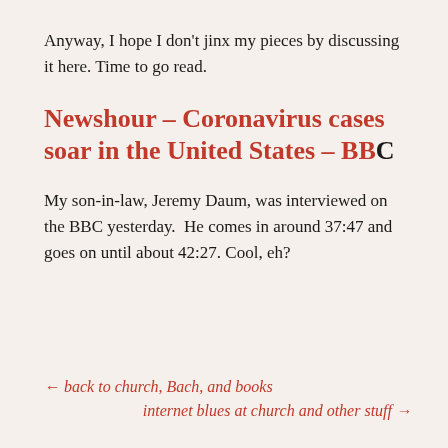Anyway, I hope I don't jinx my pieces by discussing it here. Time to go read.
Newshour – Coronavirus cases soar in the United States – BBC
My son-in-law, Jeremy Daum, was interviewed on the BBC yesterday.  He comes in around 37:47 and goes on until about 42:27. Cool, eh?
← back to church, Bach, and books
internet blues at church and other stuff →